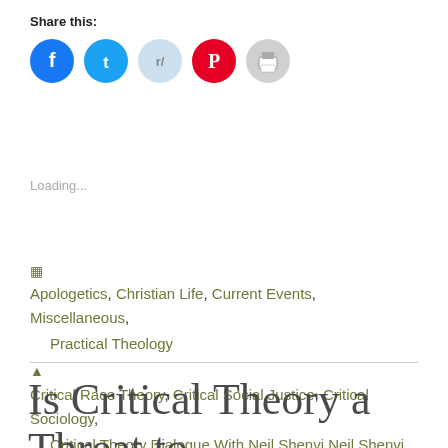Share this:
[Figure (infographic): Social share buttons: Facebook (blue circle), Twitter (cyan circle), Reddit (light blue circle), Pinterest (red circle), Print (gray circle)]
Loading...
Apologetics, Christian Life, Current Events, Miscellaneous, Practical Theology
Critical Race Theory, Critical Social Justice, Critical Sociology, Critical Theory, Dialogue With Neil Shenvi, Neil Shenvi, Racism, Social Justice
Is Critical Theory a Threat to